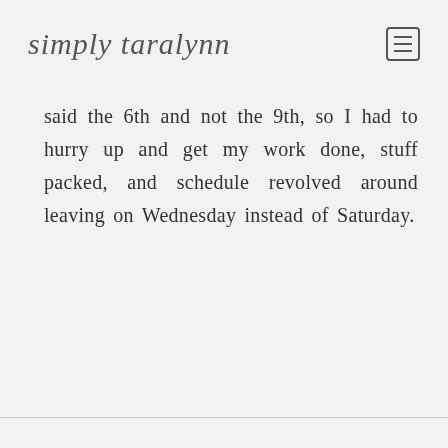simply taralynn
said the 6th and not the 9th, so I had to hurry up and get my work done, stuff packed, and schedule revolved around leaving on Wednesday instead of Saturday.